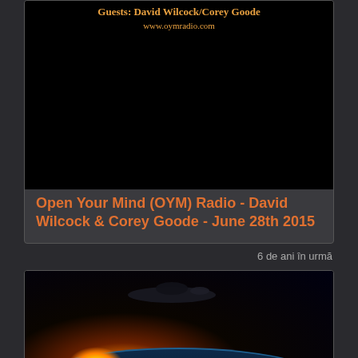[Figure (screenshot): OYM Radio thumbnail showing guests David Wilcock and Corey Goode with www.oymradio.com URL on dark background]
Open Your Mind (OYM) Radio - David Wilcock & Corey Goode - June 28th 2015
6 de ani în urmă
[Figure (photo): Space scene with planet horizon, glowing sunrise/sunset, spacecraft silhouette above and pyramid structure below]